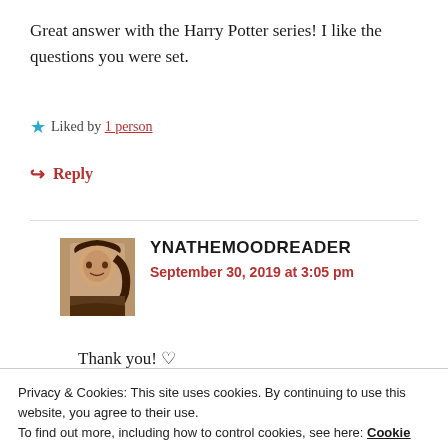Great answer with the Harry Potter series! I like the questions you were set.
Liked by 1 person
↪ Reply
YNATHEMOODREADER
September 30, 2019 at 3:05 pm
Thank you! ♡
Privacy & Cookies: This site uses cookies. By continuing to use this website, you agree to their use.
To find out more, including how to control cookies, see here: Cookie Policy
Close and accept
YOLANDA @ PAST MIDNIGHT